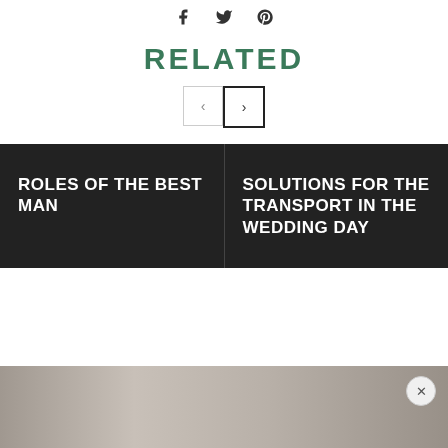[Figure (infographic): Social share icons: Facebook, Twitter, Pinterest]
RELATED
[Figure (infographic): Navigation buttons: left arrow (inactive) and right arrow (active/selected)]
ROLES OF THE BEST MAN
SOLUTIONS FOR THE TRANSPORT IN THE WEDDING DAY
[Figure (photo): Bottom strip showing a partial wedding photo in grayscale/sepia tones]